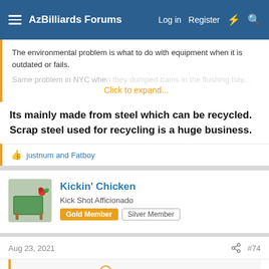AzBilliards Forums  Log in  Register
The environmental problem is what to do with equipment when it is outdated or fails.
Click to expand...
Its mainly made from steel which can be recycled. Scrap steel used for recycling is a huge business.
justnum and Fatboy
Kickin' Chicken
Kick Shot Afficionado  Gold Member  Silver Member
Aug 23, 2021  #74
Thunder Thighs said:
Workmanship is one word.